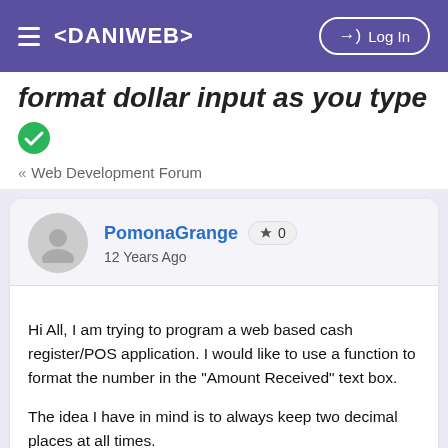≡ <DANIWEB>   → Log In
format dollar input as you type
« Web Development Forum
PomonaGrange 🏆 0
12 Years Ago
Hi All, I am trying to program a web based cash register/POS application. I would like to use a function to format the number in the "Amount Received" text box.

The idea I have in mind is to always keep two decimal places at all times.
For Example: if someone typed in 2000 it would automatically change that to 20.00